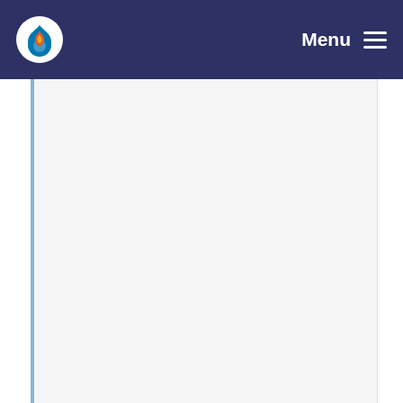Menu
[Figure (logo): Drupal flame drop logo circle in navbar]
Issue #2208165 by longwave, damiankloip: Replac... catch committed 8 years ago